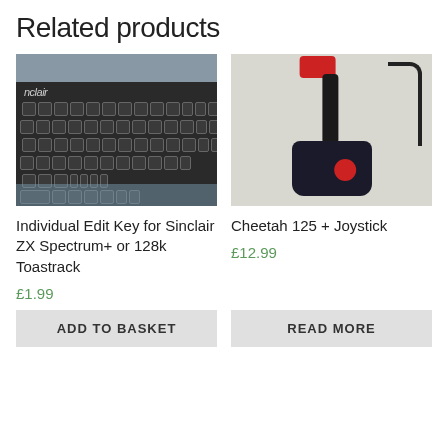Related products
[Figure (photo): Close-up photo of a Sinclair ZX Spectrum+ keyboard, black keys on dark body, with bubble wrap packaging visible around it.]
[Figure (photo): Photo of a Cheetah 125+ joystick, black body with red top button and red side button, on a white surface with cable visible.]
Individual Edit Key for Sinclair ZX Spectrum+ or 128k Toastrack
Cheetah 125 + Joystick
£1.99
£12.99
ADD TO BASKET
READ MORE